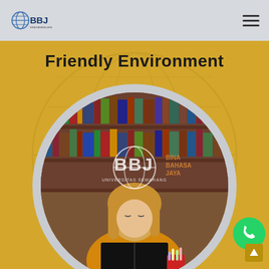BBJ Bina Bahasa Jaya (navigation bar with logo and hamburger menu)
Friendly Environment
[Figure (photo): Circular-cropped photo of a young blonde woman in a yellow shirt reading a book in front of a bookshelf, with a semi-transparent BBJ (Bina Bahasa Jaya, Universitas Semarang) logo watermark overlaid on the image. A WhatsApp floating button appears at the bottom right outside the circle.]